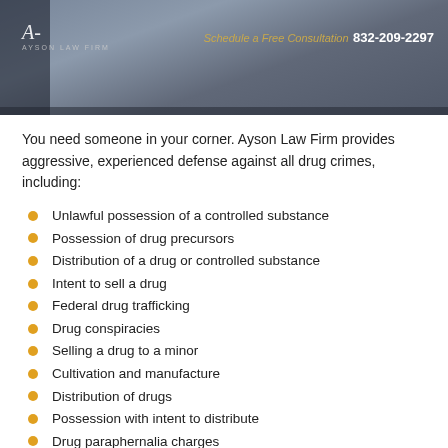[Figure (photo): Header image showing legs/trousers of a person on stairs with Ayson Law Firm logo on left and contact info on right]
You need someone in your corner. Ayson Law Firm provides aggressive, experienced defense against all drug crimes, including:
Unlawful possession of a controlled substance
Possession of drug precursors
Distribution of a drug or controlled substance
Intent to sell a drug
Federal drug trafficking
Drug conspiracies
Selling a drug to a minor
Cultivation and manufacture
Distribution of drugs
Possession with intent to distribute
Drug paraphernalia charges
Brian Ayson, our principal attorney, has fought state and federal drug crime